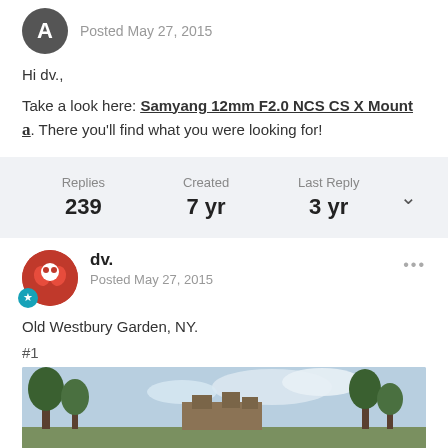Posted May 27, 2015
Hi dv.,
Take a look here: Samyang 12mm F2.0 NCS CS X Mount [amazon icon]. There you'll find what you were looking for!
Replies 239 | Created 7 yr | Last Reply 3 yr
dv.
Posted May 27, 2015
Old Westbury Garden, NY.
#1
[Figure (photo): Outdoor photo of Old Westbury Garden buildings with trees and sky]